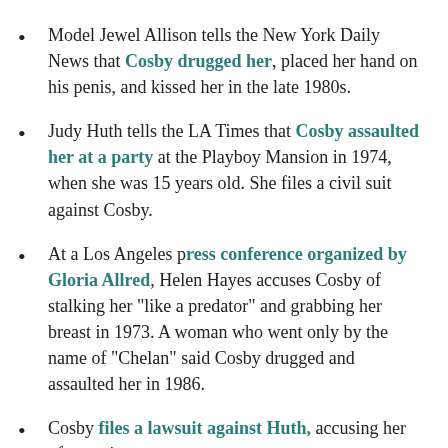Model Jewel Allison tells the New York Daily News that Cosby drugged her, placed her hand on his penis, and kissed her in the late 1980s.
Judy Huth tells the LA Times that Cosby assaulted her at a party at the Playboy Mansion in 1974, when she was 15 years old. She files a civil suit against Cosby.
At a Los Angeles press conference organized by Gloria Allred, Helen Hayes accuses Cosby of stalking her "like a predator" and grabbing her breast in 1973. A woman who went only by the name of "Chelan" said Cosby drugged and assaulted her in 1986.
Cosby files a lawsuit against Huth, accusing her of extortion.